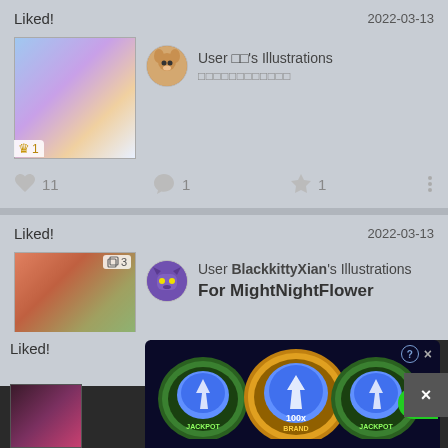Liked!
2022-03-13
[Figure (illustration): Anime girl illustration with blue/purple tones and flowers, ranked #1]
User □□'s Illustrations
□□□□□□□□□□□□
♥ 11  💬 1  ★ 1
Liked!
2022-03-13
[Figure (illustration): Cartoon cat characters illustration, ranked #3]
User BlackkittyXian's Illustrations
For MightNightFlower
♥ 28  💬 19  ★ 14
Liked!
[Figure (screenshot): Gambling-style spinning slot ad with diamond coins and green SPIN button]